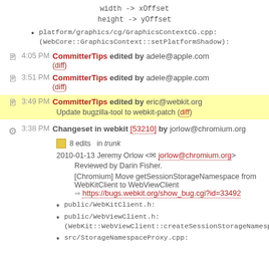width -> xOffset
height -> yOffset
platform/graphics/cg/GraphicsContextCG.cpp:
(WebCore::GraphicsContext::setPlatformShadow):
4:05 PM CommitterTips edited by adele@apple.com (diff)
3:51 PM CommitterTips edited by adele@apple.com (diff)
3:49 PM CommitterTips edited by eric@webkit.org
Update bugzilla-tool to webkit-patch (diff)
3:38 PM Changeset in webkit [53210] by jorlow@chromium.org
8 edits in trunk
2010-01-13 Jeremy Orlow <jorlow@chromium.org>
Reviewed by Darin Fisher.
[Chromium] Move getSessionStorageNamespace from WebKitClient to WebViewClient
https://bugs.webkit.org/show_bug.cgi?id=33492
public/WebKitClient.h:
public/WebViewClient.h:
(WebKit::WebViewClient::createSessionStorageNamespace):
src/StorageNamespaceProxy.cpp: